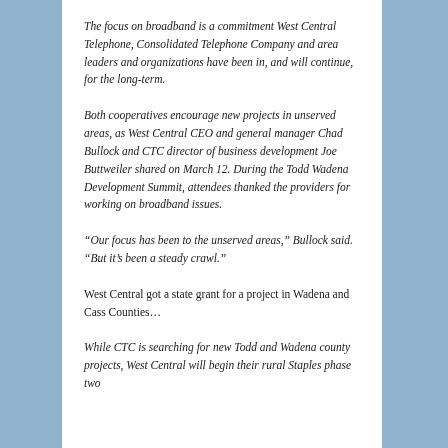The focus on broadband is a commitment West Central Telephone, Consolidated Telephone Company and area leaders and organizations have been in, and will continue, for the long-term.
Both cooperatives encourage new projects in unserved areas, as West Central CEO and general manager Chad Bullock and CTC director of business development Joe Buttweiler shared on March 12. During the Todd Wadena Development Summit, attendees thanked the providers for working on broadband issues.
“Our focus has been to the unserved areas,” Bullock said. “But it’s been a steady crawl.”
West Central got a state grant for a project in Wadena and Cass Counties…
While CTC is searching for new Todd and Wadena county projects, West Central will begin their rural Staples phase two